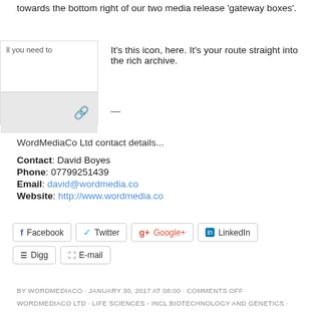towards the bottom right of our two media release 'gateway boxes'.
[Figure (screenshot): A partial screenshot of a media release gateway box showing a link/chain icon]
It's this icon, here. It's your route straight into the rich archive.
WordMediaCo Ltd contact details...
Contact: David Boyes
Phone: 07799251439
Email: david@wordmedia.co
Website: http://www.wordmedia.co
[Figure (infographic): Social sharing buttons: Facebook, Twitter, Google+, LinkedIn, Digg, E-mail]
BY WORDMEDIACO · JANUARY 30, 2017 AT 08:00 · COMMENTS OFF
WORDMEDIACO LTD · LIFE SCIENCES - INCL BIOTECHNOLOGY AND GENETICS ·